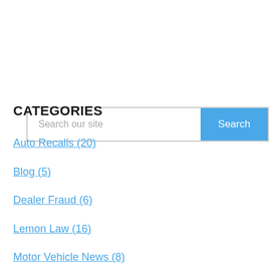[Figure (other): Search bar with text input field and blue Search button]
CATEGORIES
Auto Recalls (20)
Blog (5)
Dealer Fraud (6)
Lemon Law (16)
Motor Vehicle News (8)
Motor Vehicle Recalls (21)
Uncategorized (31)